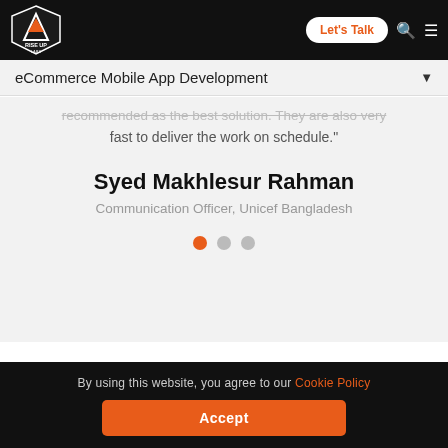Rise Up Labs — Let's Talk | eCommerce Mobile App Development
recommended as the best solution. They are also very fast to deliver the work on schedule."
Syed Makhlesur Rahman
Communication Officer, Unicef Bangladesh
By using this website, you agree to our Cookie Policy  Accept